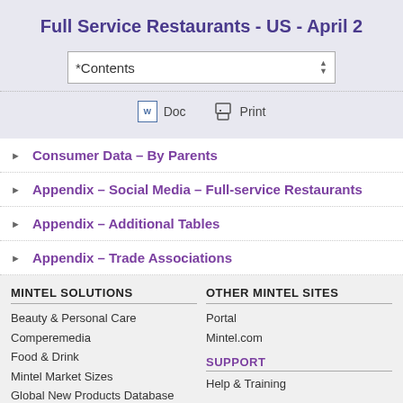Full Service Restaurants - US - April 2
*Contents
Doc  Print
Consumer Data – By Parents
Appendix – Social Media – Full-service Restaurants
Appendix – Additional Tables
Appendix – Trade Associations
MINTEL SOLUTIONS
Beauty & Personal Care
Comperemedia
Food & Drink
Mintel Market Sizes
Global New Products Database
OTHER MINTEL SITES
Portal
Mintel.com
SUPPORT
Help & Training